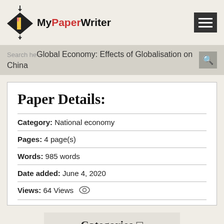MyPaperWriter
Global Economy: Effects of Globalisation on China
Paper Details:
Category: National economy
Pages: 4 page(s)
Words: 985 words
Date added: June 4, 2020
Views: 64 Views
Categories